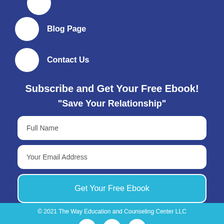Blog Page
Contact Us
Subscribe and Get Your Free Ebook!
"Save Your Relationship"
[Figure (screenshot): Full Name input field (white rounded rectangle)]
[Figure (screenshot): Your Email Address input field (white rounded rectangle)]
[Figure (screenshot): Get Your Free Ebook button (blue rounded rectangle)]
© 2021 The Way Education and Counseling Center LLC